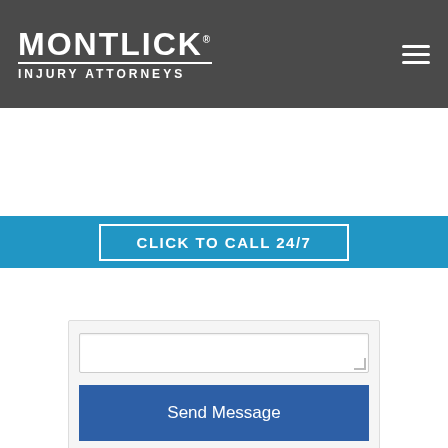MONTLICK INJURY ATTORNEYS
CLICK TO CALL 24/7
Send Message
Free Newsletter
Sign up for our free family safety and legal tips newsletter.
Auto Accident Checklist
We hope you are never in an accident, but if you are,